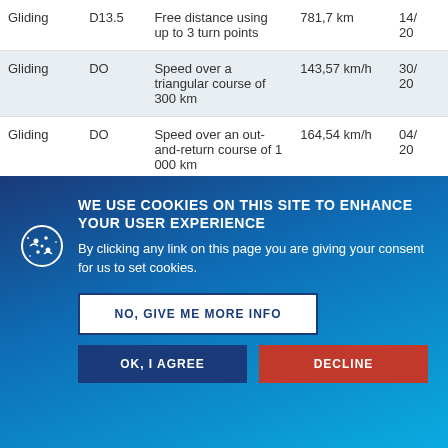| Sport | Category | Description | Value | Date |
| --- | --- | --- | --- | --- |
| Gliding | D13.5 | Free distance using up to 3 turn points | 781,7 km | 14/20 |
| Gliding | DO | Speed over a triangular course of 300 km | 143,57 km/h | 30/20 |
| Gliding | DO | Speed over an out-and-return course of 1 000 km | 164,54 km/h | 04/20 |
| Gliding | DLM | Speed over a triangular course of ... | 152,75 km/h | 04/... |
| Gliding | D15 | Free distance using up to 3 turn points | 2 190,5 km | 10/20 |
| Gliding | ... | Free out-and-return ... | 1 731,4 km | ... |
WE USE COOKIES ON THIS SITE TO ENHANCE YOUR USER EXPERIENCE
By clicking any link on this page you are giving your consent for us to set cookies.
NO, GIVE ME MORE INFO
OK, I AGREE
DECLINE